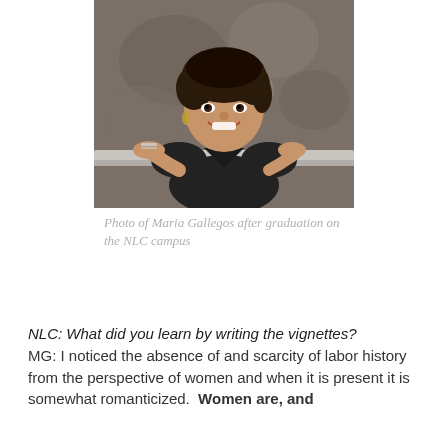[Figure (photo): Photo of a smiling woman wearing a black sleeveless top, leaning on a railing, taken on the NLC campus after graduation.]
Photo of Maria Gallegos after graduation on the NLC campus
NLC: What did you learn by writing the vignettes? MG: I noticed the absence of and scarcity of labor history from the perspective of women and when it is present it is somewhat romanticized.  Women are, and